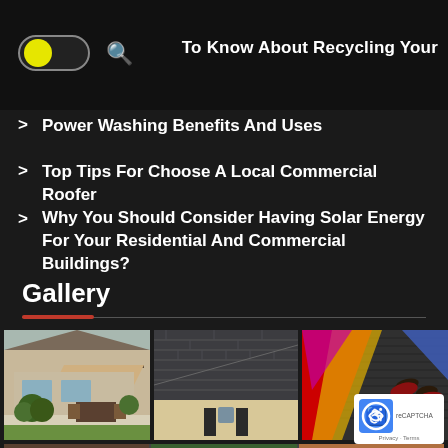To Know About Recycling Your
[Figure (screenshot): Dark mode toggle pill with yellow circle (on state) and search icon]
> Power Washing Benefits And Uses
> Top Tips For Choose A Local Commercial Roofer
> Why You Should Consider Having Solar Energy For Your Residential And Commercial Buildings?
Gallery
[Figure (photo): Three photo thumbnails: (1) House with awning and patio furniture on green lawn, (2) Close-up of dark asphalt roof shingles on a beige house, (3) Colorful abstract/yoga/mat scene with person's feet]
[Figure (photo): Partial second row of gallery images cut off at bottom of page]
[Figure (other): reCAPTCHA badge with Privacy and Terms links]